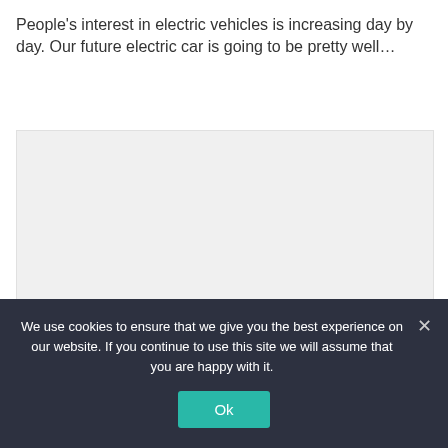People's interest in electric vehicles is increasing day by day. Our future electric car is going to be pretty well...
[Figure (other): Large light gray placeholder image area for an electric vehicle article]
We use cookies to ensure that we give you the best experience on our website. If you continue to use this site we will assume that you are happy with it.